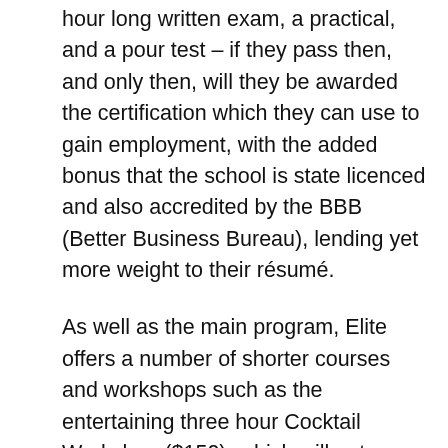hour long written exam, a practical, and a pour test – if they pass then, and only then, will they be awarded the certification which they can use to gain employment, with the added bonus that the school is state licenced and also accredited by the BBB (Better Business Bureau), lending yet more weight to their résumé.
As well as the main program, Elite offers a number of shorter courses and workshops such as the entertaining three hour Cocktail Workshop ($150), which will get amateur bar lovers mixing and serving
We use cookies on our website to give you the most relevant experience by remembering your preferences and repeat visits. By clicking "Accept", you consent to the use